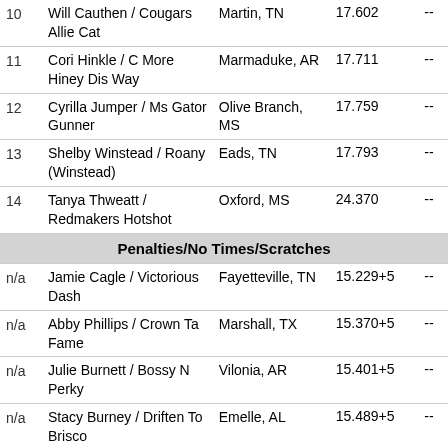| # | Rider / Horse | Location | Time |  |
| --- | --- | --- | --- | --- |
| 10 | Will Cauthen / Cougars Allie Cat | Martin, TN | 17.602 | -- |
| 11 | Cori Hinkle / C More Hiney Dis Way | Marmaduke, AR | 17.711 | -- |
| 12 | Cyrilla Jumper / Ms Gator Gunner | Olive Branch, MS | 17.759 | -- |
| 13 | Shelby Winstead / Roany (Winstead) | Eads, TN | 17.793 | -- |
| 14 | Tanya Thweatt / Redmakers Hotshot | Oxford, MS | 24.370 | -- |
| Penalties/No Times/Scratches |  |  |  |  |
| n/a | Jamie Cagle / Victorious Dash | Fayetteville, TN | 15.229+5 | -- |
| n/a | Abby Phillips / Crown Ta Fame | Marshall, TX | 15.370+5 | -- |
| n/a | Julie Burnett / Bossy N Perky | Vilonia, AR | 15.401+5 | -- |
| n/a | Stacy Burney / Driften To Brisco | Emelle, AL | 15.489+5 | -- |
| n/a | Megan Jamerson / SF Fired Up N French | Gallatin, TN | 15.611+5 | -- |
| n/a | Rachel Carrington / PC | Milan, TN | 15.683+5 | -- |